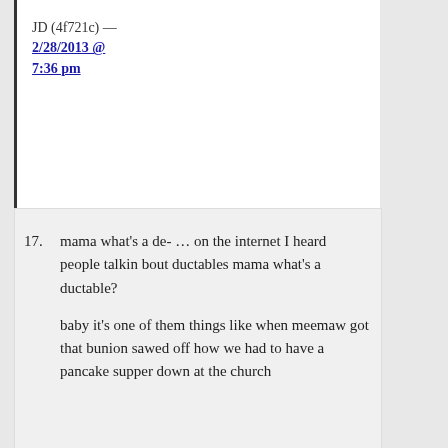JD (4f721c) — 2/28/2013 @ 7:36 pm
17. mama what's a de- … on the internet I heard people talkin bout ductables mama what's a ductable?

baby it's one of them things like when meemaw got that bunion sawed off how we had to have a pancake supper down at the church